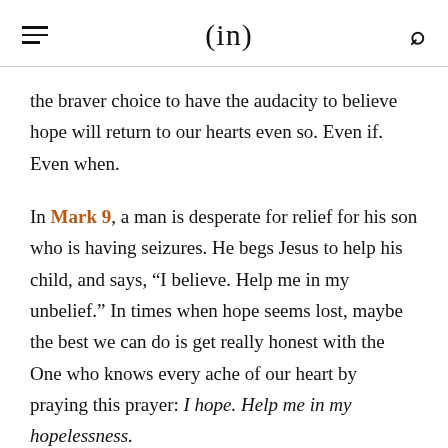(in)
the braver choice to have the audacity to believe hope will return to our hearts even so. Even if. Even when.
In Mark 9, a man is desperate for relief for his son who is having seizures. He begs Jesus to help his child, and says, “I believe. Help me in my unbelief.” In times when hope seems lost, maybe the best we can do is get really honest with the One who knows every ache of our heart by praying this prayer: I hope. Help me in my hopelessness.
We cannot change the weather just as we cannot